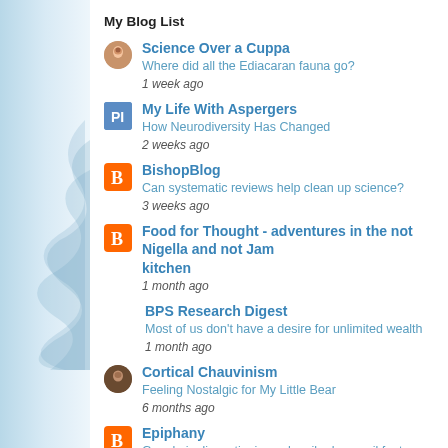My Blog List
Science Over a Cuppa
Where did all the Ediacaran fauna go?
1 week ago
My Life With Aspergers
How Neurodiversity Has Changed
2 weeks ago
BishopBlog
Can systematic reviews help clean up science?
3 weeks ago
Food for Thought - adventures in the not Nigella and not Jamie kitchen
1 month ago
BPS Research Digest
Most of us don't have a desire for unlimited wealth
1 month ago
Cortical Chauvinism
Feeling Nostalgic for My Little Bear
6 months ago
Epiphany
Google is discontinuing subscribe by email feature
1 year ago